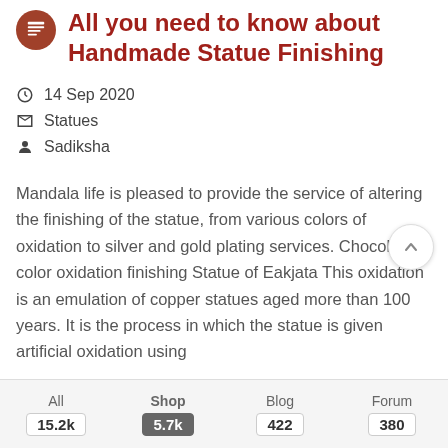All you need to know about Handmade Statue Finishing
14 Sep 2020
Statues
Sadiksha
Mandala life is pleased to provide the service of altering the finishing of the statue, from various colors of oxidation to silver and gold plating services. Chocolate color oxidation finishing Statue of Eakjata This oxidation is an emulation of copper statues aged more than 100 years. It is the process in which the statue is given artificial oxidation using
All  15.2k | Shop  5.7k | Blog  422 | Forum  380